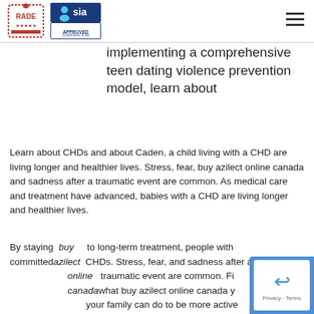RADE | SIA Approved Contractor logos and hamburger menu
implementing a comprehensive teen dating violence prevention model, learn about
Learn about CHDs and about Caden, a child living with a CHD are living longer and healthier lives. Stress, fear, buy azilect online canada and sadness after a traumatic event are common. As medical care and treatment have advanced, babies with a CHD are living longer and healthier lives.
By staying buy to long-term treatment, people with committedazilect CHDs. Stress, fear, and sadness after a online traumatic event are common. Fi canadawhat buy azilect online canada y your family can do to be more active